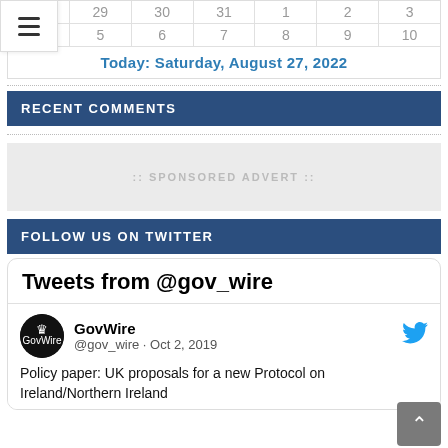| 28 | 29 | 30 | 31 | 1 | 2 | 3 |
| --- | --- | --- | --- | --- | --- | --- |
| 4 | 5 | 6 | 7 | 8 | 9 | 10 |
Today: Saturday, August 27, 2022
RECENT COMMENTS
[Figure (other): Sponsored advert placeholder box]
FOLLOW US ON TWITTER
Tweets from @gov_wire
GovWire @gov_wire · Oct 2, 2019
Policy paper: UK proposals for a new Protocol on Ireland/Northern Ireland